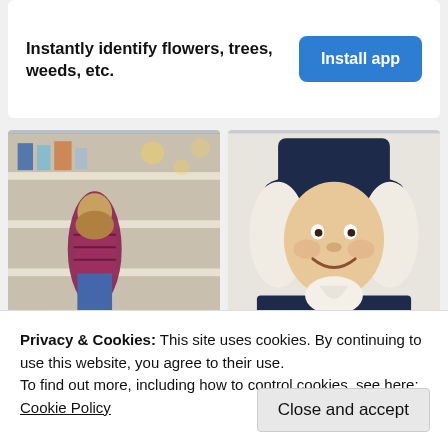[Figure (infographic): App advertisement banner with text 'Instantly identify flowers, trees, weeds, etc.' and a blue 'Install app' button]
[Figure (photo): Woman crouching in a grocery store aisle, looking at a product on a shelf]
[Figure (illustration): Illustrated character resembling the Quaker Oats man wearing a dark colonial hat and jacket with white ruffled collar]
Sizing Up Your Possessions   Almost Nobody Use
Privacy & Cookies: This site uses cookies. By continuing to use this website, you agree to their use.
To find out more, including how to control cookies, see here: Cookie Policy
Close and accept